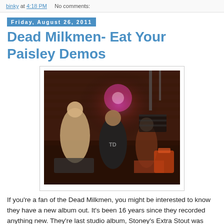binky at 4:18 PM   No comments:
Friday, August 26, 2011
Dead Milkmen- Eat Your Paisley Demos
[Figure (photo): Band photo of the Dead Milkmen in a warehouse/studio setting with brick walls, red lighting, and band members posing.]
If you're a fan of the Dead Milkmen, you might be interested to know they have a new album out. It's been 16 years since they recorded anything new. They're last studio album, Stoney's Extra Stout was released in 1995 before the band